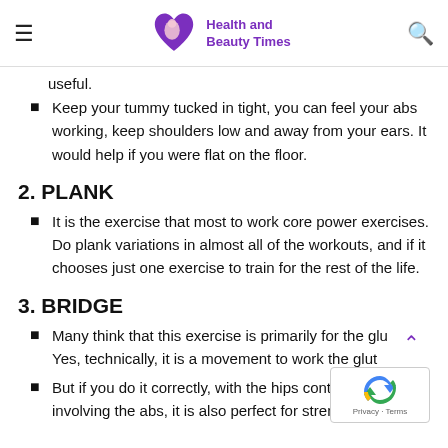Health and Beauty Times
useful.
Keep your tummy tucked in tight, you can feel your abs working, keep shoulders low and away from your ears. It would help if you were flat on the floor.
2. PLANK
It is the exercise that most to work core power exercises. Do plank variations in almost all of the workouts, and if it chooses just one exercise to train for the rest of the life.
3. BRIDGE
Many think that this exercise is primarily for the glu... Yes, technically, it is a movement to work the glut...
But if you do it correctly, with the hips contracted a... involving the abs, it is also perfect for strengthening the